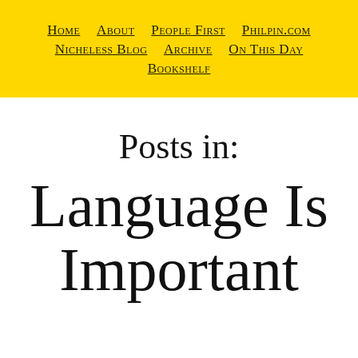Home   About   People First   Philpin.com   Nicheless Blog   Archive   On This Day   Bookshelf
Posts in:
Language Is Important